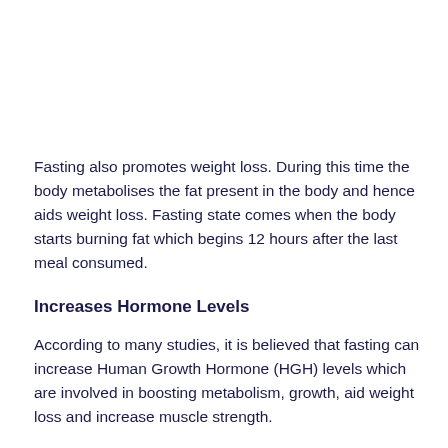Fasting also promotes weight loss. During this time the body metabolises the fat present in the body and hence aids weight loss. Fasting state comes when the body starts burning fat which begins 12 hours after the last meal consumed.
Increases Hormone Levels
According to many studies, it is believed that fasting can increase Human Growth Hormone (HGH) levels which are involved in boosting metabolism, growth, aid weight loss and increase muscle strength.